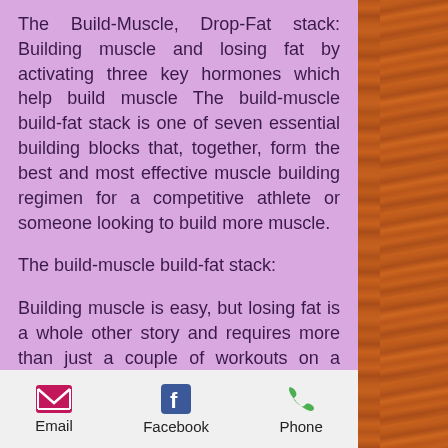The Build-Muscle, Drop-Fat stack: Building muscle and losing fat by activating three key hormones which help build muscle The build-muscle build-fat stack is one of seven essential building blocks that, together, form the best and most effective muscle building regimen for a competitive athlete or someone looking to build more muscle.
The build-muscle build-fat stack:
Building muscle is easy, but losing fat is a whole other story and requires more than just a couple of workouts on a muscle building exercise, best peptide for fat loss. You must work within a muscle building cycle while training for fat loss. If you don't do enough muscle building during the day, you
Email  Facebook  Phone